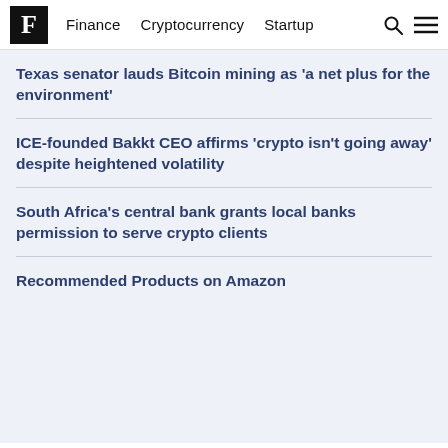F  Finance  Cryptocurrency  Startup
Texas senator lauds Bitcoin mining as 'a net plus for the environment'
ICE-founded Bakkt CEO affirms 'crypto isn't going away' despite heightened volatility
South Africa's central bank grants local banks permission to serve crypto clients
Recommended Products on Amazon